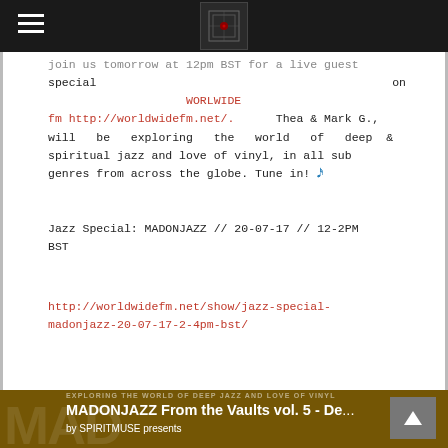Navigation bar with hamburger menu and logo
...join us tomorrow at 12pm BST for a live guest special on WORLWIDE fm http://worldwidefm.net/. Thea & Mark G., will be exploring the world of deep & spiritual jazz and love of vinyl, in all sub genres from across the globe. Tune in! 🎵
Jazz Special: MADONJAZZ // 20-07-17 // 12-2PM BST
http://worldwidefm.net/show/jazz-special-madonjazz-20-07-17-2-4pm-bst/
[Figure (other): Bottom banner showing MADONJAZZ From the Vaults vol. 5 post with yellow/gold background and MAD text watermark, by SPIRITMUSE presents]